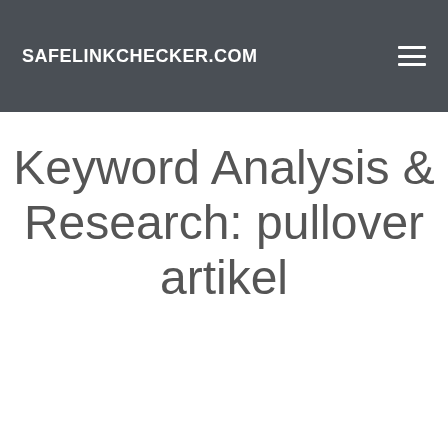SAFELINKCHECKER.COM
Keyword Analysis & Research: pullover artikel